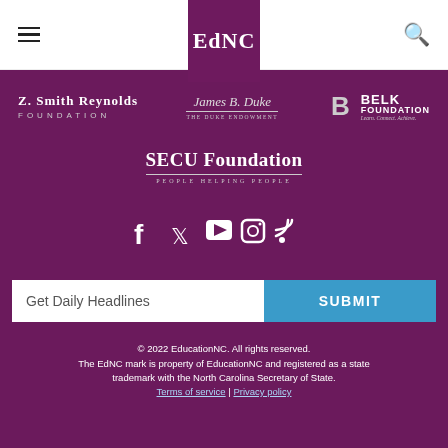EdNC navigation bar with hamburger menu and search icon
[Figure (logo): EdNC logo in purple box]
[Figure (logo): Z. Smith Reynolds Foundation logo]
[Figure (logo): The Duke Endowment logo]
[Figure (logo): Belk Foundation logo]
[Figure (logo): SECU Foundation - People Helping People logo]
[Figure (infographic): Social media icons: Facebook, Twitter, YouTube, Instagram, RSS]
Get Daily Headlines
SUBMIT
© 2022 EducationNC. All rights reserved. The EdNC mark is property of EducationNC and registered as a state trademark with the North Carolina Secretary of State. Terms of service | Privacy policy